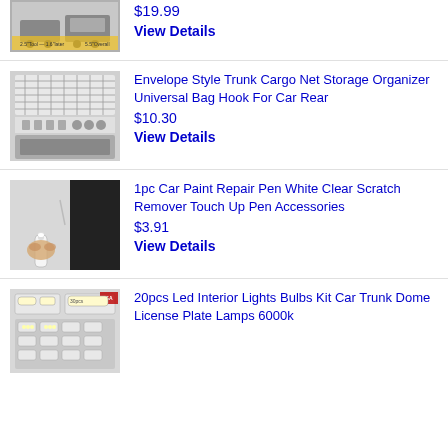[Figure (photo): Product image of a car accessory item, partially cut off at top]
$19.99
View Details
[Figure (photo): Envelope style trunk cargo net storage organizer with hooks]
Envelope Style Trunk Cargo Net Storage Organizer Universal Bag Hook For Car Rear
$10.30
View Details
[Figure (photo): 1pc car paint repair pen white clear scratch remover touch up pen]
1pc Car Paint Repair Pen White Clear Scratch Remover Touch Up Pen Accessories
$3.91
View Details
[Figure (photo): 20pcs LED interior lights bulbs kit set]
20pcs Led Interior Lights Bulbs Kit Car Trunk Dome License Plate Lamps 6000k